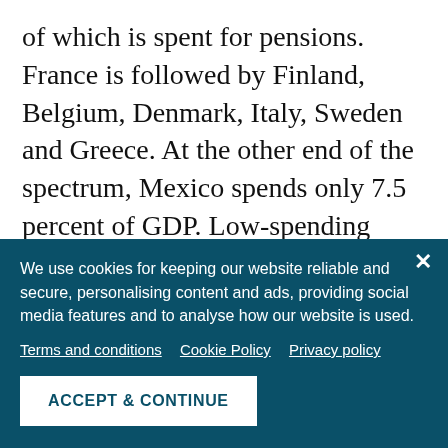of which is spent for pensions. France is followed by Finland, Belgium, Denmark, Italy, Sweden and Greece. At the other end of the spectrum, Mexico spends only 7.5 percent of GDP. Low-spending OECD members are also South Korea, Chile, Turkey, Iceland or Israel.
However, when taking into account both public and private spending, France continues to lead but is followed by the US with total
We use cookies for keeping our website reliable and secure, personalising content and ads, providing social media features and to analyse how our website is used.
Terms and conditions   Cookie Policy   Privacy policy
ACCEPT & CONTINUE